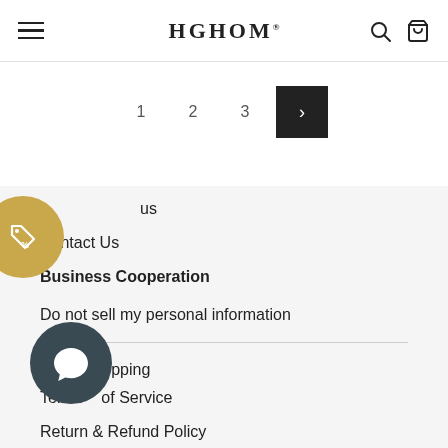HGHOM
1
2
3
>
Contact Us
Business Cooperation
Do not sell my personal information
On... Shipping
Terms of Service
Return & Refund Policy